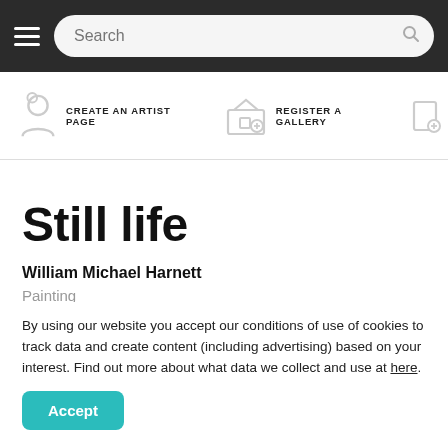Search navigation bar with hamburger menu and search input
CREATE AN ARTIST PAGE   REGISTER A GALLERY
Still life
William Michael Harnett
Painting
By using our website you accept our conditions of use of cookies to track data and create content (including advertising) based on your interest. Find out more about what data we collect and use at here.